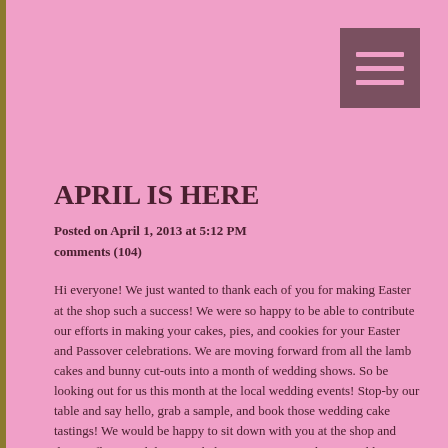[Figure (other): Menu icon - three horizontal lines on a dark mauve square background]
APRIL IS HERE
Posted on April 1, 2013 at 5:12 PM
comments (104)
Hi everyone! We just wanted to thank each of you for making Easter at the shop such a success! We were so happy to be able to contribute our efforts in making your cakes, pies, and cookies for your Easter and Passover celebrations. We are moving forward from all the lamb cakes and bunny cut-outs into a month of wedding shows. So be looking out for us this month at the local wedding events! Stop-by our table and say hello, grab a sample, and book those wedding cake tastings! We would be happy to sit down with you at the shop and discuss flavor and design to help you create your dream wedding cake. We just ask for 48 hours notice for a cake tasting! Thanks for being such awesome customers, and we'll see you all soon!